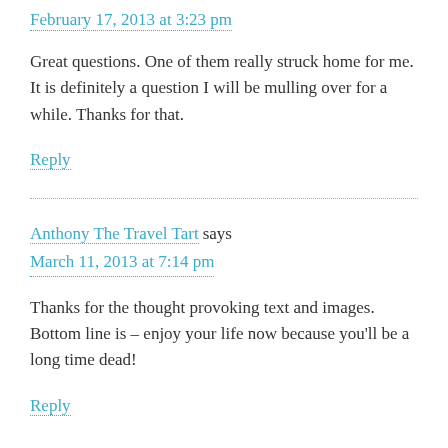February 17, 2013 at 3:23 pm
Great questions. One of them really struck home for me. It is definitely a question I will be mulling over for a while. Thanks for that.
Reply
Anthony The Travel Tart says
March 11, 2013 at 7:14 pm
Thanks for the thought provoking text and images. Bottom line is – enjoy your life now because you'll be a long time dead!
Reply